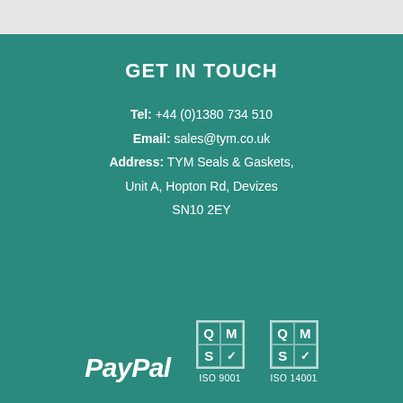GET IN TOUCH
Tel: +44 (0)1380 734 510
Email: sales@tym.co.uk
Address: TYM Seals & Gaskets, Unit A, Hopton Rd, Devizes SN10 2EY
[Figure (logo): PayPal logo in white italic bold text]
[Figure (logo): QMS ISO 9001 certification badge with Q, M, S, checkmark grid]
[Figure (logo): QMS ISO 14001 certification badge with Q, M, S, checkmark grid]